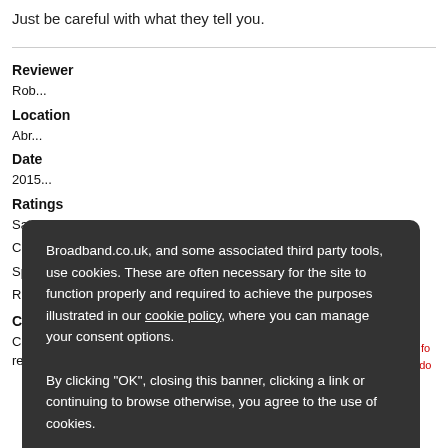Just be careful with what they tell you.
Reviewer
Rob...
Location
Abr...
Date
2015...
Ratings
Satisfaction
Customer Service
Speed
Reliability
Comments
Cheap but awful broadband experience. Slow and poor reliability. Not recommended
Broadband.co.uk, and some associated third party tools, use cookies. These are often necessary for the site to function properly and required to achieve the purposes illustrated in our cookie policy, where you can manage your consent options.

By clicking "OK", closing this banner, clicking a link or continuing to browse otherwise, you agree to the use of cookies.
Read our privacy policy
OK